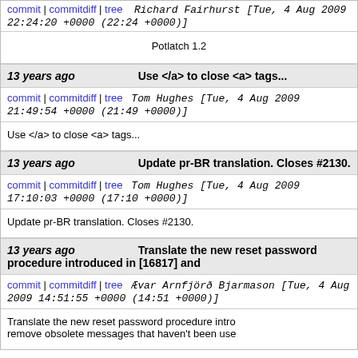commit | commitdiff | tree   Richard Fairhurst [Tue, 4 Aug 2009 22:24:20 +0000 (22:24 +0000)]
Potlatch 1.2
13 years ago   Use </a> to close <a> tags...
commit | commitdiff | tree   Tom Hughes [Tue, 4 Aug 2009 21:49:54 +0000 (21:49 +0000)]
Use </a> to close <a> tags...
13 years ago   Update pr-BR translation. Closes #2130.
commit | commitdiff | tree   Tom Hughes [Tue, 4 Aug 2009 17:10:03 +0000 (17:10 +0000)]
Update pr-BR translation. Closes #2130.
13 years ago   Translate the new reset password procedure introduced in [16817] and
commit | commitdiff | tree   Ævar Arnfjörð Bjarmason [Tue, 4 Aug 2009 14:51:55 +0000 (14:51 +0000)]
Translate the new reset password procedure intro... remove obsolete messages that haven't been use...